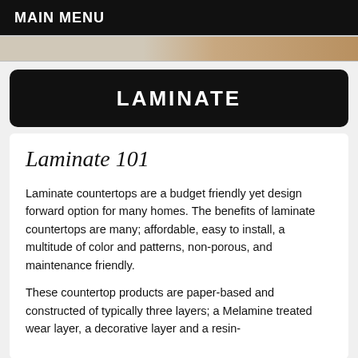MAIN MENU
[Figure (photo): Partial view of a countertop surface image strip]
LAMINATE
Laminate 101
Laminate countertops are a budget friendly yet design forward option for many homes. The benefits of laminate countertops are many; affordable, easy to install, a multitude of color and patterns, non-porous, and maintenance friendly.
These countertop products are paper-based and constructed of typically three layers; a Melamine treated wear layer, a decorative layer and a resin-